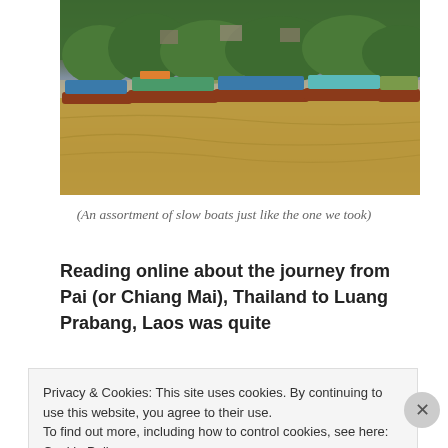[Figure (photo): Row of colorful slow boats moored along a muddy brown river, with green hillside and riverside buildings in the background.]
(An assortment of slow boats just like the one we took)
Reading online about the journey from Pai (or Chiang Mai), Thailand to Luang Prabang, Laos was quite
Privacy & Cookies: This site uses cookies. By continuing to use this website, you agree to their use.
To find out more, including how to control cookies, see here: Cookie Policy
Close and accept